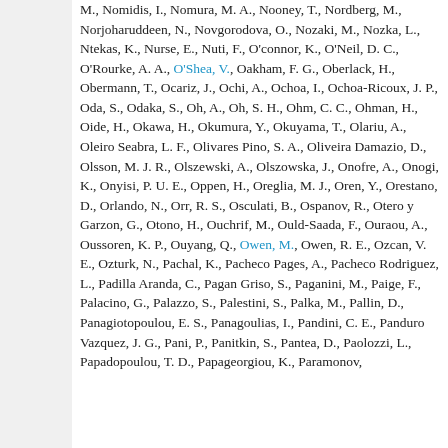M., Nomidis, I., Nomura, M. A., Nooney, T., Nordberg, M., Norjoharuddeen, N., Novgorodova, O., Nozaki, M., Nozka, L., Ntekas, K., Nurse, E., Nuti, F., O'connor, K., O'Neil, D. C., O'Rourke, A. A., O'Shea, V., Oakham, F. G., Oberlack, H., Obermann, T., Ocariz, J., Ochi, A., Ochoa, I., Ochoa-Ricoux, J. P., Oda, S., Odaka, S., Oh, A., Oh, S. H., Ohm, C. C., Ohman, H., Oide, H., Okawa, H., Okumura, Y., Okuyama, T., Olariu, A., Oleiro Seabra, L. F., Olivares Pino, S. A., Oliveira Damazio, D., Olsson, M. J. R., Olszewski, A., Olszowska, J., Onofre, A., Onogi, K., Onyisi, P. U. E., Oppen, H., Oreglia, M. J., Oren, Y., Orestano, D., Orlando, N., Orr, R. S., Osculati, B., Ospanov, R., Otero y Garzon, G., Otono, H., Ouchrif, M., Ould-Saada, F., Ouraou, A., Oussoren, K. P., Ouyang, Q., Owen, M., Owen, R. E., Ozcan, V. E., Ozturk, N., Pachal, K., Pacheco Pages, A., Pacheco Rodriguez, L., Padilla Aranda, C., Pagan Griso, S., Paganini, M., Paige, F., Palacino, G., Palazzo, S., Palestini, S., Palka, M., Pallin, D., Panagiotopoulou, E. S., Panagoulias, I., Pandini, C. E., Panduro Vazquez, J. G., Pani, P., Panitkin, S., Pantea, D., Paolozzi, L., Papadopoulou, T. D., Papageorgiou, K., Paramonov,